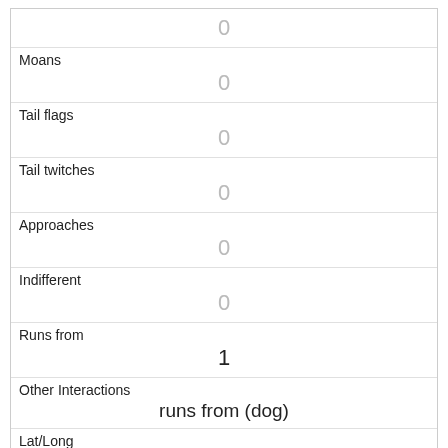| 0 |
| Moans | 0 |
| Tail flags | 0 |
| Tail twitches | 0 |
| Approaches | 0 |
| Indifferent | 0 |
| Runs from | 1 |
| Other Interactions | runs from (dog) |
| Lat/Long | POINT (-73.9530809650496 40.79591763177051) |
| Link | 412 |
| rowid |  |